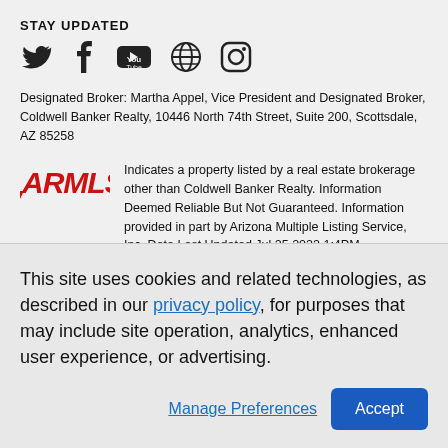STAY UPDATED
[Figure (illustration): Social media icons: Twitter, Facebook, YouTube, Globe/Web, Instagram]
Designated Broker: Martha Appel, Vice President and Designated Broker, Coldwell Banker Realty, 10446 North 74th Street, Suite 200, Scottsdale, AZ 85258
[Figure (logo): ARMLS logo in red italic bold text]
Indicates a property listed by a real estate brokerage other than Coldwell Banker Realty. Information Deemed Reliable But Not Guaranteed. Information provided in part by Arizona Multiple Listing Service, Inc. Date Last Updated Jul 25 2022 1:4PM
Information is provided exclusively for consumers' personal, non-
This site uses cookies and related technologies, as described in our privacy policy, for purposes that may include site operation, analytics, enhanced user experience, or advertising.
Manage Preferences
Accept